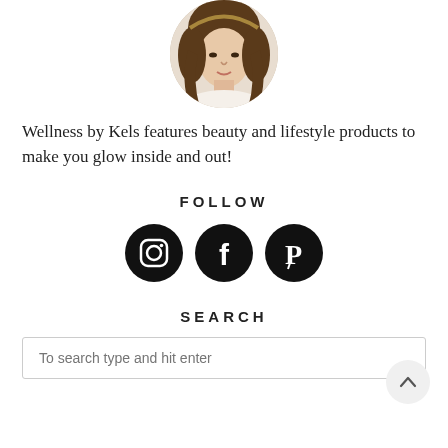[Figure (photo): Circular cropped portrait photo of a woman with dark hair, top portion of face/head visible]
Wellness by Kels features beauty and lifestyle products to make you glow inside and out!
FOLLOW
[Figure (illustration): Three circular black social media icons: Instagram, Facebook, Pinterest]
SEARCH
To search type and hit enter